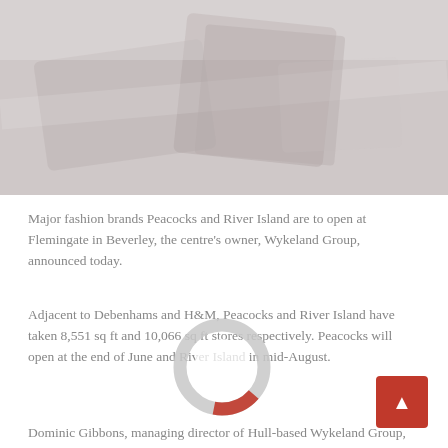[Figure (photo): Faded/washed-out photograph of what appears to be a retail or shopping centre interior, taking up the top portion of the page]
Major fashion brands Peacocks and River Island are to open at Flemingate in Beverley, the centre's owner, Wykeland Group, announced today.
[Figure (donut-chart): Donut chart with a red segment (approximately 15-20%) and grey body, overlaid on the text content]
Adjacent to Debenhams and H&M, Peacocks and River Island have taken 8,551 sq ft and 10,066 sq ft stores respectively. Peacocks will open at the end of June and River Island in mid-August.
Dominic Gibbons, managing director of Hull-based Wykeland Group, said: "Flemingate has gone from strength to strength since opening last year and are delighted to add these brands, which reflect strategy of creating an offer that complements and